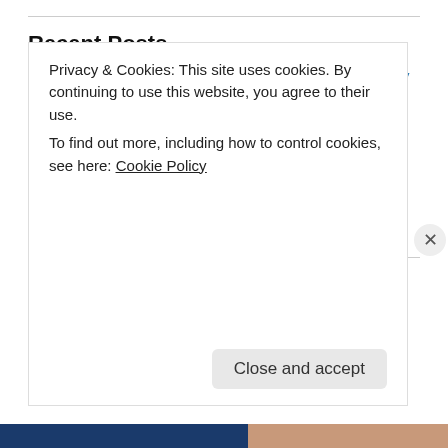Recent Posts
Light Unto Another World – An Isekai Adventure by Yakov Merkin
Yesterday's Sermon: 'Course He isn't Safe. But He's Good.
A Certain Precious Magic
Victory
Your Burden
Categories
Announcements
Privacy & Cookies: This site uses cookies. By continuing to use this website, you agree to their use.
To find out more, including how to control cookies, see here: Cookie Policy
Close and accept